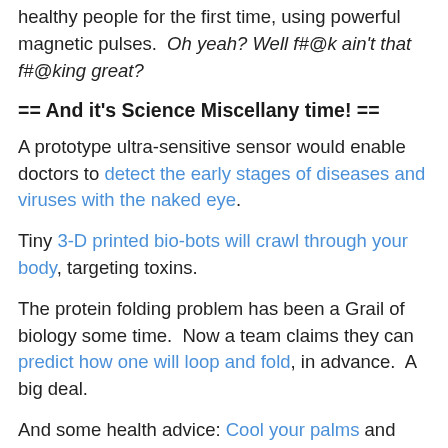healthy people for the first time, using powerful magnetic pulses.  Oh yeah? Well f#@k ain't that f#@king great?
== And it's Science Miscellany time! ==
A prototype ultra-sensitive sensor would enable doctors to detect the early stages of diseases and viruses with the naked eye.
Tiny 3-D printed bio-bots will crawl through your body, targeting toxins.
The protein folding problem has been a Grail of biology some time.  Now a team claims they can predict how one will loop and fold, in advance.  A big deal.
And some health advice: Cool your palms and build muscles and lose weight?  Heads up to keep an eye on this.  Exercise does more for you if you cool your palms and the soles of your feet?  Huh. Some of you write in and tell your